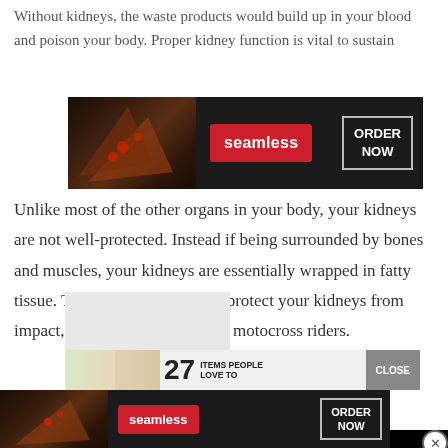Without kidneys, the waste products would build up in your blood and poison your body. Proper kidney function is vital to sustain
[Figure (screenshot): Seamless food delivery advertisement banner showing pizza slices on dark background with red 'seamless' button and 'ORDER NOW' button]
Unlike most of the other organs in your body, your kidneys are not well-protected. Instead if being surrounded by bones and muscles, your kidneys are essentially wrapped in fatty tissue. This tissue does little to protect your kidneys from impact, and kidney damage can motocross riders.
[Figure (screenshot): Black video player overlay]
[Figure (screenshot): Items people advertisement strip with close button]
[Figure (screenshot): Seamless food delivery advertisement banner at bottom showing pizza slices on dark background with red 'seamless' button and 'ORDER NOW' button]